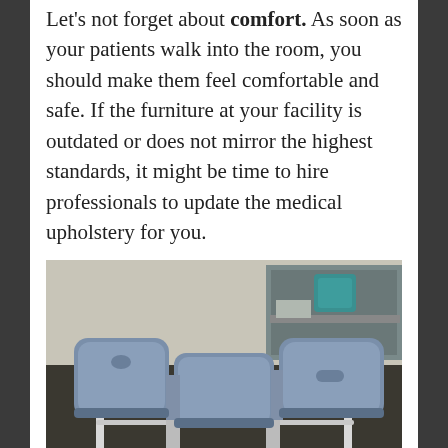Let's not forget about comfort. As soon as your patients walk into the room, you should make them feel comfortable and safe. If the furniture at your facility is outdated or does not mirror the highest standards, it might be time to hire professionals to update the medical upholstery for you.
[Figure (photo): A blue/grey upholstered medical examination table with multiple padded sections and a face hole cutout, set on a white metal frame with adjustment mechanisms, photographed in a clinical room.]
That being said, Rayco Upholstery works with health care facilities by providing superior